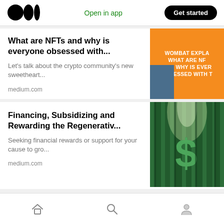Medium logo | Open in app | Get started
What are NFTs and why is everyone obsessed with...
Let's talk about the crypto community's new sweetheart...
medium.com
[Figure (screenshot): Orange background image with white bold text: WOMBAT EXPLAINS WHAT ARE NFTS AND WHY IS EVERYONE OBSESSED WITH THEM, with a blue corner detail]
Financing, Subsidizing and Rewarding the Regenerativ...
Seeking financial rewards or support for your cause to gro...
medium.com
[Figure (photo): Forest with green trees and a green dollar sign logo overlay]
Home | Search | Profile